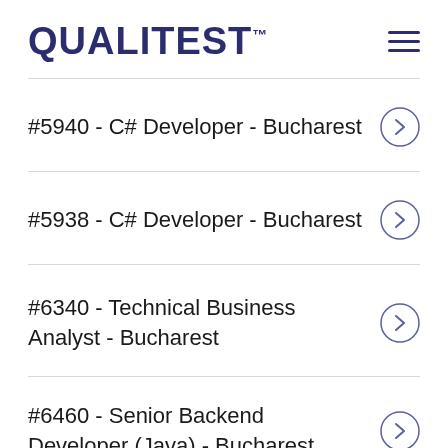QUALITEST™
#5940 - C# Developer - Bucharest
#5938 - C# Developer - Bucharest
#6340 - Technical Business Analyst - Bucharest
#6460 - Senior Backend Developer (Java) - Bucharest